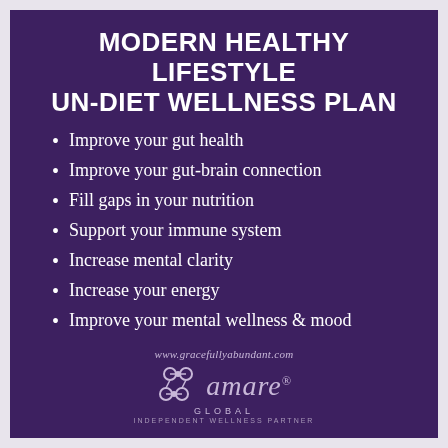MODERN HEALTHY LIFESTYLE UN-DIET WELLNESS PLAN
Improve your gut health
Improve your gut-brain connection
Fill gaps in your nutrition
Support your immune system
Increase mental clarity
Increase your energy
Improve your mental wellness & mood
www.gracefullyabundant.com
[Figure (logo): Amare Global Independent Wellness Partner logo with interconnected circle nodes icon]